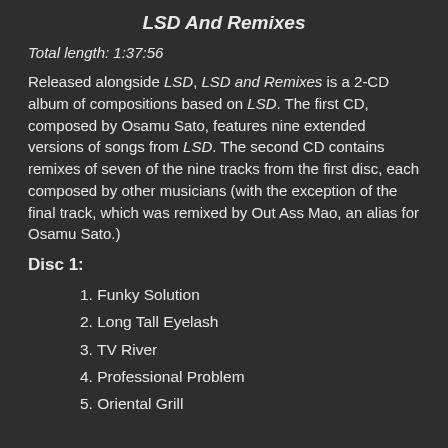LSD And Remixes
Total length: 1:37:56
Released alongside LSD, LSD and Remixes is a 2-CD album of compositions based on LSD. The first CD, composed by Osamu Sato, features nine extended versions of songs from LSD. The second CD contains remixes of seven of the nine tracks from the first disc, each composed by other musicians (with the exception of the final track, which was remixed by Out Ass Mao, an alias for Osamu Sato.)
Disc 1:
1. Funky Solution
2. Long Tall Eyelash
3. TV River
4. Professional Problem
5. Oriental Grill